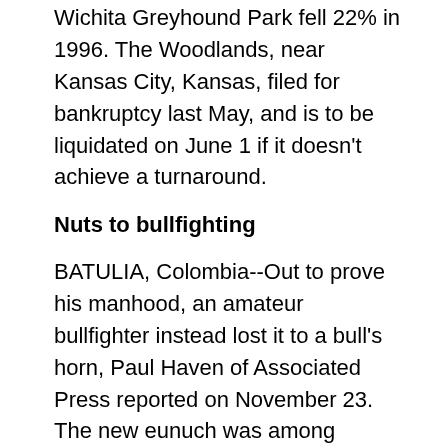Wichita Greyhound Park fell 22% in 1996. The Woodlands, near Kansas City, Kansas, filed for bankruptcy last May, and is to be liquidated on June 1 if it doesn't achieve a turnaround.
Nuts to bullfighting
BATULIA, Colombia--Out to prove his manhood, an amateur bullfighter instead lost it to a bull's horn, Paul Haven of Associated Press reported on November 23. The new eunuch was among several thousand mostly inebriated men who thronged the Batulia bullring before up to 20,000 spectators during a five-day amateur bullfighting festival, one of an annual series held August to January.